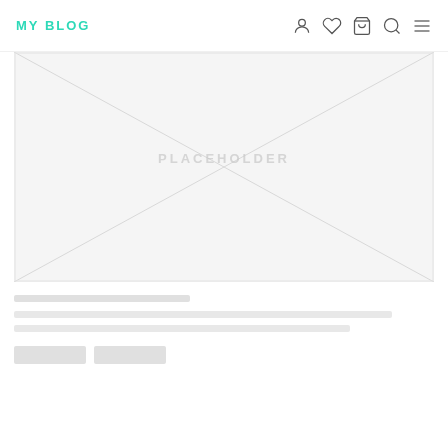MY BLOG
[Figure (illustration): Placeholder image area with diagonal cross lines and centered 'PLACEHOLDER' text watermark, light grey background]
[placeholder text lines representing blog post title and description]